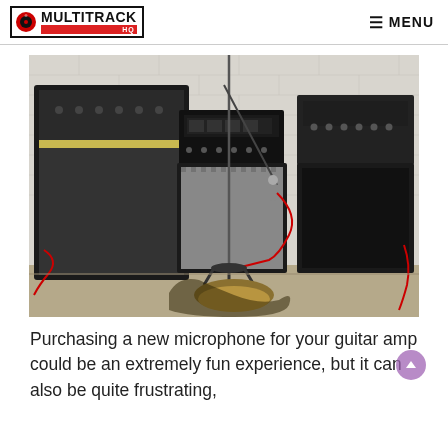MULTITRACK HQ — MENU
[Figure (photo): Photo of multiple guitar amplifiers lined up against a white brick wall. A microphone on a stand is positioned in front of a cabinet speaker in the center. Red cables run along the floor. In the foreground is a guitar pedal and part of a guitar.]
Purchasing a new microphone for your guitar amp could be an extremely fun experience, but it can also be quite frustrating,